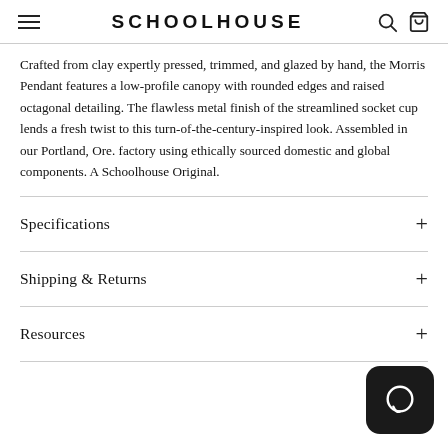SCHOOLHOUSE
Crafted from clay expertly pressed, trimmed, and glazed by hand, the Morris Pendant features a low-profile canopy with rounded edges and raised octagonal detailing. The flawless metal finish of the streamlined socket cup lends a fresh twist to this turn-of-the-century-inspired look. Assembled in our Portland, Ore. factory using ethically sourced domestic and global components. A Schoolhouse Original.
Specifications
Shipping & Returns
Resources